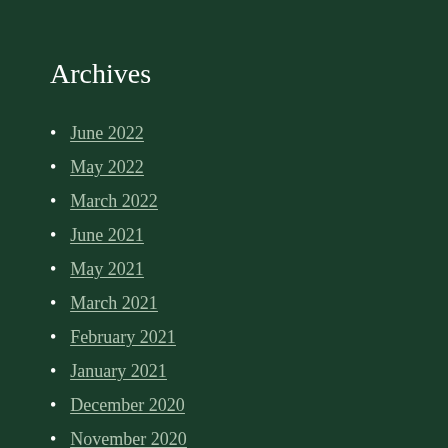Archives
June 2022
May 2022
March 2022
June 2021
May 2021
March 2021
February 2021
January 2021
December 2020
November 2020
October 2020
September 2020
August 2020